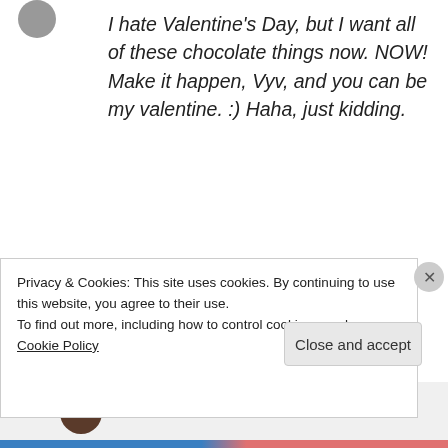[Figure (photo): Small avatar image in top left corner]
I hate Valentine's Day, but I want all of these chocolate things now. NOW! Make it happen, Vyv, and you can be my valentine. :) Haha, just kidding.
★ Like
↳ Reply
[Figure (photo): User avatar for vyvacious, circular profile image]
vyvacious on February 14, 2013 at 4:39 pm
Privacy & Cookies: This site uses cookies. By continuing to use this website, you agree to their use.
To find out more, including how to control cookies, see here: Cookie Policy
Close and accept